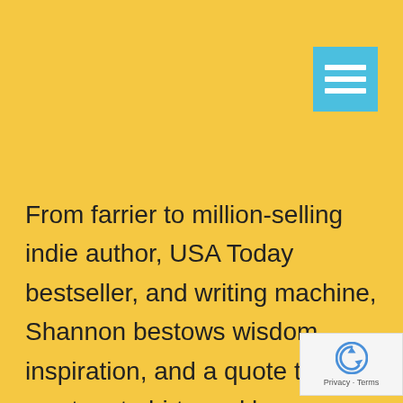[Figure (screenshot): Yellow header bar with a cyan/teal hamburger menu icon button in the top-right corner]
From farrier to million-selling indie author, USA Today bestseller, and writing machine, Shannon bestows wisdom, inspiration, and a quote that we want on t-shirts and bumper stickers. PODCAST Click to Tweet: @TheShannonMayer Your muse is your bitch! You have to make it work for you #amwriting @bestsellerxp Thanks for listening and joining